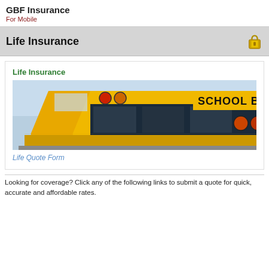GBF Insurance
For Mobile
Life Insurance
Life Insurance
[Figure (photo): Front view of a yellow school bus with red and orange lights visible, against a light blue sky background. The words SCHOOL BUS are visible on the front.]
Life Quote Form
Looking for coverage? Click any of the following links to submit a quote for quick, accurate and affordable rates.